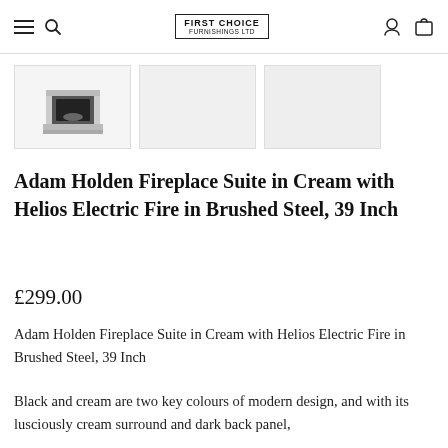First Choice Furnishings Ltd — navigation bar with hamburger menu, search, logo, account, and cart icons
[Figure (photo): Thumbnail strip showing three product images: the first is an active thumbnail of a cream fireplace suite, the second and third are blank/grey placeholder thumbnails]
Adam Holden Fireplace Suite in Cream with Helios Electric Fire in Brushed Steel, 39 Inch
£299.00
Adam Holden Fireplace Suite in Cream with Helios Electric Fire in Brushed Steel, 39 Inch
Black and cream are two key colours of modern design, and with its lusciously cream surround and dark back panel,